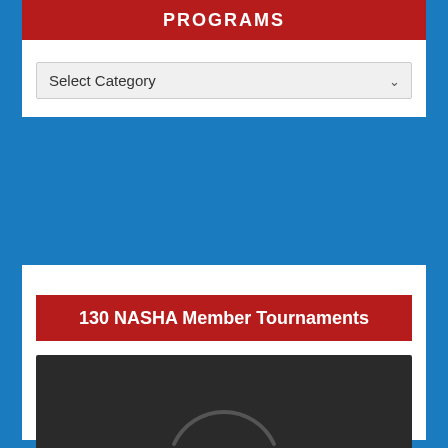PROGRAMS
Select Category
130 NASHA Member Tournaments
[Figure (screenshot): Video player showing 0:00 timestamp with play button, volume icon, fullscreen icon, and more options icon. Progress bar at bottom. Dark background with a loading arc indicator in the center.]